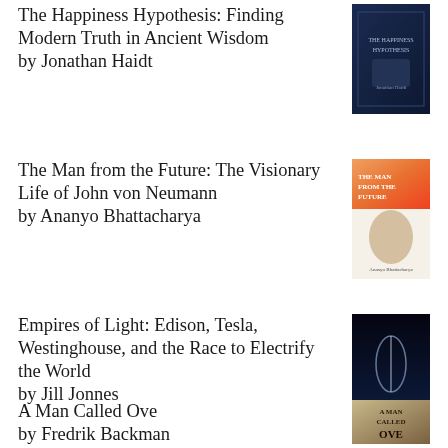The Happiness Hypothesis: Finding Modern Truth in Ancient Wisdom by Jonathan Haidt
The Man from the Future: The Visionary Life of John von Neumann by Ananyo Bhattacharya
Empires of Light: Edison, Tesla, Westinghouse, and the Race to Electrify the World by Jill Jonnes
A Man Called Ove by Fredrik Backman